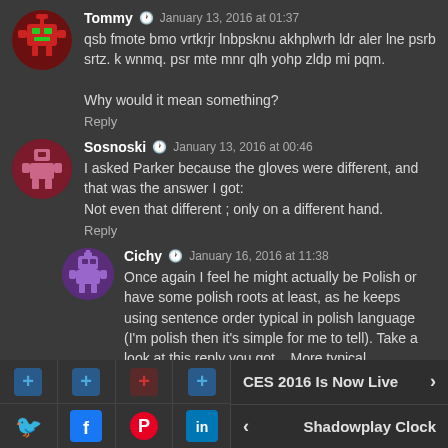Tommy · January 13, 2016 at 01:37
qsb fmote bmo vrtkrjr lnbpsknu akhplwrh ldr aler lne psrb srtz. k wnmq. psr mte mnr qlh yohp zldp mi pqm.
Why would it mean something?
Reply
Sosnoski · January 13, 2016 at 00:46
I asked Parker because the gloves were different, and that was the answer I got:
Not even that different ; only on a different hand.
Reply
Cichy · January 16, 2016 at 11:38
Once again I feel he might actually be Polish or have some polish roots at least, as he keeps using sentence order typical in polish language (I'm polish then it's simple for me to tell). Take a look at this reply you got... More typical
CES 2016 Is Now Live
Shadowplay Clock